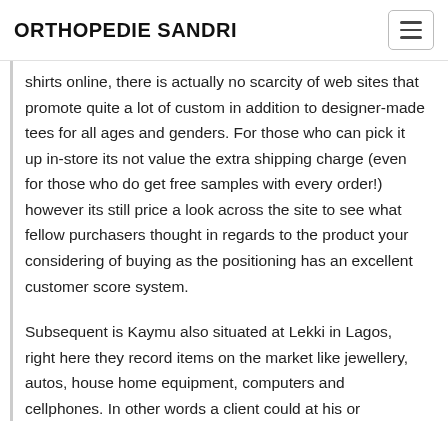ORTHOPEDIE SANDRI
shirts online, there is actually no scarcity of web sites that promote quite a lot of custom in addition to designer-made tees for all ages and genders. For those who can pick it up in-store its not value the extra shipping charge (even for those who do get free samples with every order!) however its still price a look across the site to see what fellow purchasers thought in regards to the product your considering of buying as the positioning has an excellent customer score system.
Subsequent is Kaymu also situated at Lekki in Lagos, right here they record items on the market like jewellery, autos, house home equipment, computers and cellphones. In other words a client could at his or